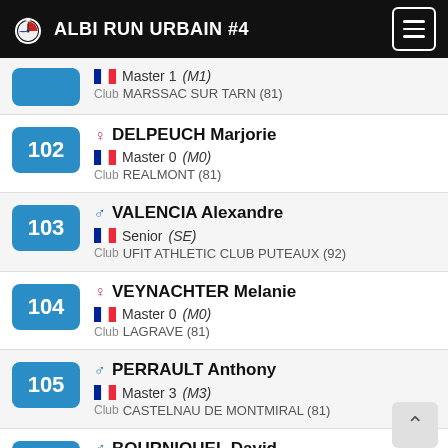ALBI RUN URBAIN #4
Bib: (partial) | Master 1 (M1) | Club: MARSSAC SUR TARN (81)
102 | Female | DELPEUCH Marjorie | Master 0 (M0) | Club: REALMONT (81)
103 | Male | VALENCIA Alexandre | Senior (SE) | Club: UFIT ATHLETIC CLUB PUTEAUX (92)
104 | Female | VEYNACHTER Melanie | Master 0 (M0) | Club: LAGRAVE (81)
105 | Male | PERRAULT Anthony | Master 3 (M3) | Club: CASTELNAU DE MONTMIRAL (81)
107 | Male | BOURNIQUEL David | Master 0 (M0)